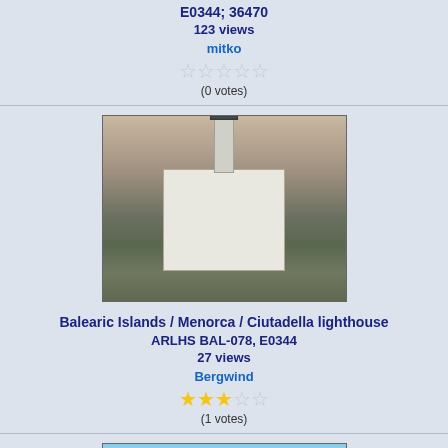E0344; 36470
123 views
mitko
(0 votes)
[Figure (photo): Lighthouse building at dusk, Balearic Islands / Menorca / Ciutadella lighthouse]
Balearic Islands / Menorca / Ciutadella lighthouse
ARLHS BAL-078, E0344
27 views
Bergwind
(1 votes)
[Figure (photo): Lighthouse building in daytime, Balearic Islands / Menorca / Ciutadella lighthouse]
Balearic Islands / Menorca / Ciutadella lighthouse